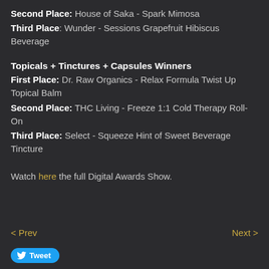Second Place: House of Saka - Spark Mimosa
Third Place: Wunder - Sessions Grapefruit Hibiscus Beverage
Topicals + Tinctures + Capsules Winners
First Place: Dr. Raw Organics - Relax Formula Twist Up Topical Balm
Second Place: THC Living - Freeze 1:1 Cold Therapy Roll-On
Third Place: Select - Squeeze Hint of Sweet Beverage Tincture
Watch here the full Digital Awards Show.
< Prev   Next >